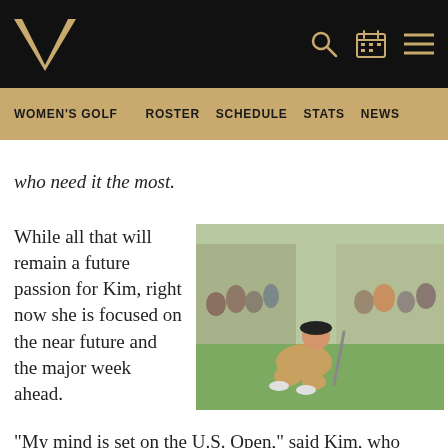[Figure (logo): Vanderbilt University athletics 'V' logo in gold on black navigation bar with search, calendar, and menu icons]
WOMEN'S GOLF   ROSTER   SCHEDULE   STATS   NEWS
who need it the most.
While all that will remain a future passion for Kim, right now she is focused on the near future and the major week ahead.
[Figure (photo): Female golfer crouching to read the green, holding a putter, wearing a dark cap and khaki outfit, crowd in background]
“My mind is set on the U.S. Open,” said Kim, who shot a 7-over and missed the cut during the 2019